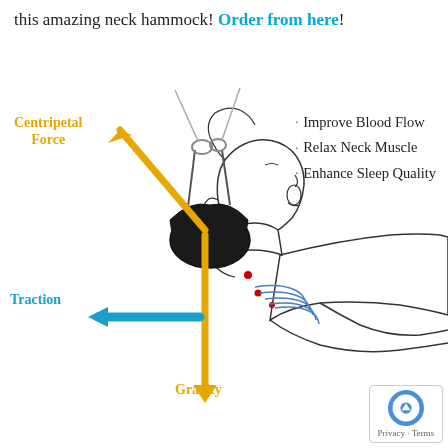this amazing neck hammock! Order from here!
[Figure (illustration): Diagram of a person lying down using a neck hammock device. The head is cradled in a black sling attached to ropes/straps at the top. Three force arrows are shown: an orange diagonal arrow labeled 'Centripetal Force' pointing up-left, a blue horizontal arrow labeled 'Traction' pointing left, and an orange vertical arrow labeled 'Gravity' pointing downward. Red dot markers indicate pressure points on the neck. The illustration labels the biomechanical forces at work.]
Improve Blood Flow
Relax Neck Muscle
Enhance Sleep Quality
Privacy · Terms